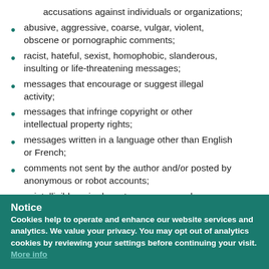accusations against individuals or organizations;
abusive, aggressive, coarse, vulgar, violent, obscene or pornographic comments;
racist, hateful, sexist, homophobic, slanderous, insulting or life-threatening messages;
messages that encourage or suggest illegal activity;
messages that infringe copyright or other intellectual property rights;
messages written in a language other than English or French;
comments not sent by the author and/or posted by anonymous or robot accounts;
unintelligible or irrelevant messages; and
messages that infringe upon an individual's privacy
Notice
Cookies help to operate and enhance our website services and analytics. We value your privacy. You may opt out of analytics cookies by reviewing your settings before continuing your visit. More info